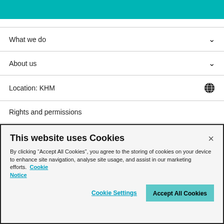What we do
About us
Location: KHM
Rights and permissions
Legal
This website uses Cookies
By clicking “Accept All Cookies”, you agree to the storing of cookies on your device to enhance site navigation, analyse site usage, and assist in our marketing efforts. Cookie Notice
Cookie Settings | Accept All Cookies